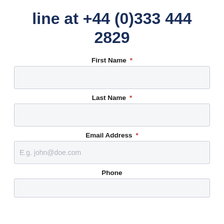line at +44 (0)333 444 2829
First Name *
Last Name *
Email Address *
Phone